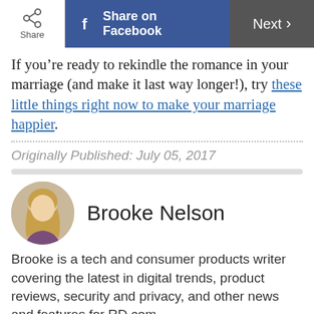Share | Share on Facebook | Next >
If you’re ready to rekindle the romance in your marriage (and make it last way longer!), try these little things right now to make your marriage happier.
Originally Published: July 05, 2017
Brooke Nelson
Brooke is a tech and consumer products writer covering the latest in digital trends, product reviews, security and privacy, and other news and features for RD.com.